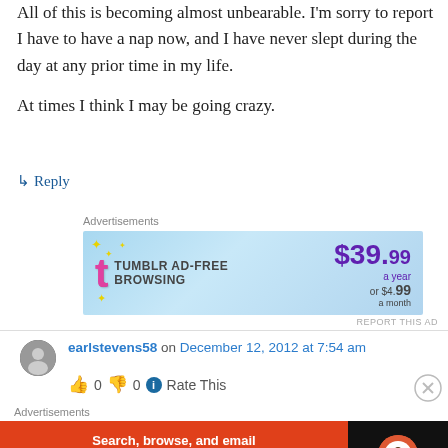All of this is becoming almost unbearable. I'm sorry to report I have to have a nap now, and I have never slept during the day at any prior time in my life.

At times I think I may be going crazy.
↳ Reply
[Figure (other): Tumblr Ad-Free Browsing advertisement banner: $39.99 a year or $4.99 a month]
earlstevens58 on December 12, 2012 at 7:54 am
👍 0 👎 0 ℹ Rate This
[Figure (other): DuckDuckGo advertisement: Search, browse, and email with more privacy. All in One Free App]